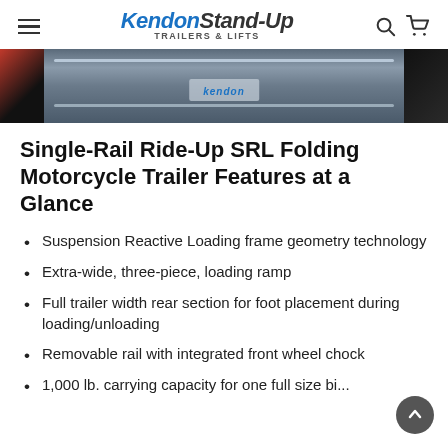Kendon Stand-Up Trailers & Lifts
[Figure (photo): Partial photo of a motorcycle trailer showing a chrome rail with Kendon branding label, dark background]
Single-Rail Ride-Up SRL Folding Motorcycle Trailer Features at a Glance
Suspension Reactive Loading frame geometry technology
Extra-wide, three-piece, loading ramp
Full trailer width rear section for foot placement during loading/unloading
Removable rail with integrated front wheel chock
1,000 lb. carrying capacity for one full size bi...